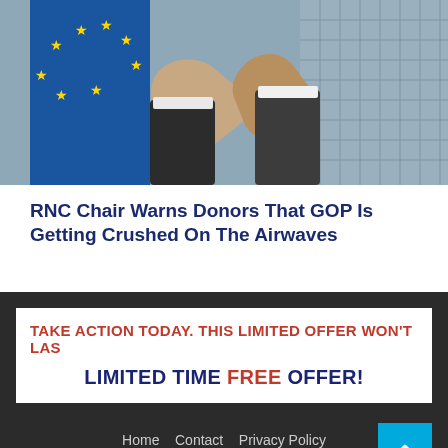[Figure (photo): Two people shaking hands in front of what appears to be a building facade, with a blue flag or cloth visible on the left side.]
RNC Chair Warns Donors That GOP Is Getting Crushed On The Airwaves
TAKE ACTION TODAY. THIS LIMITED OFFER WON'T LAS
LIMITED TIME FREE OFFER!
Home   Contact   Privacy Policy
Copyright 2022 © News of the Trade All rights reserved.